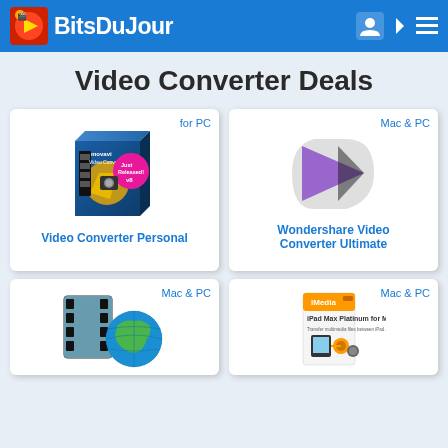BitsDuJour
Video Converter Deals
[Figure (screenshot): Product card for Movavi Video Converter Personal (for PC) showing product box with 'Just Released! v8' badge]
[Figure (screenshot): Product card for Wondershare Video Converter Ultimate (Mac & PC) showing purple play button logo]
[Figure (screenshot): Product card (Mac & PC) showing film strip with globe icon, partially visible]
[Figure (screenshot): Product card for iMedia iPad Max Platinum for Mac (Mac & PC), partially visible]